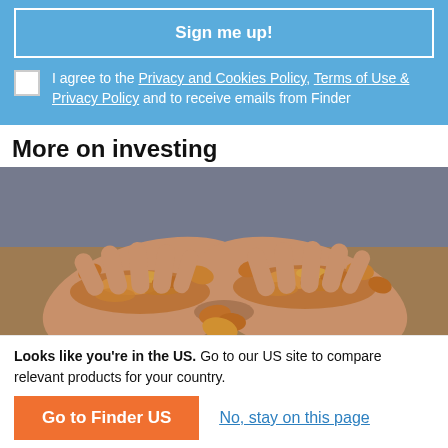Sign me up!
I agree to the Privacy and Cookies Policy, Terms of Use & Privacy Policy and to receive emails from Finder
More on investing
[Figure (photo): Two hands cupped together holding a pile of copper/penny coins]
Looks like you're in the US. Go to our US site to compare relevant products for your country.
Go to Finder US
No, stay on this page